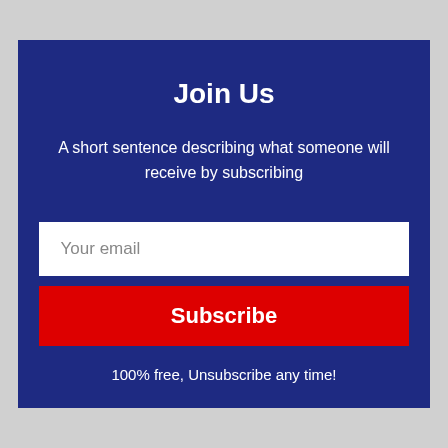Join Us
A short sentence describing what someone will receive by subscribing
Your email
Subscribe
100% free, Unsubscribe any time!